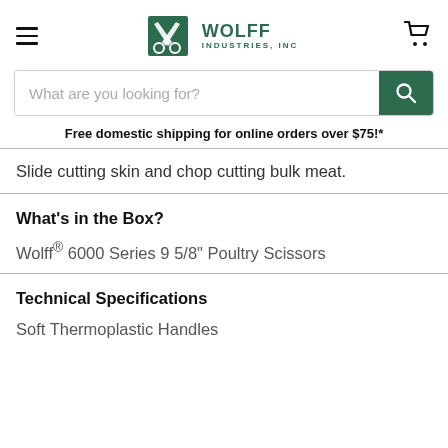Wolff Industries, Inc.
What are you looking for?
Free domestic shipping for online orders over $75!*
Slide cutting skin and chop cutting bulk meat.
What's in the Box?
Wolff® 6000 Series 9 5/8" Poultry Scissors
Technical Specifications
Soft Thermoplastic Handles